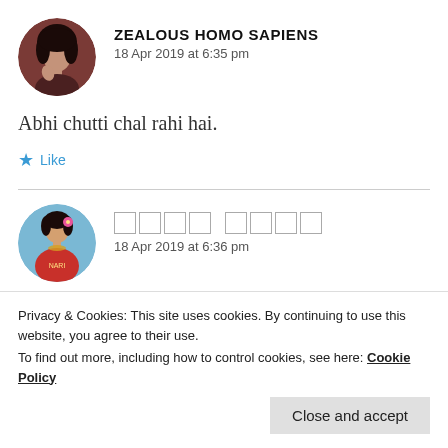ZEALOUS HOMO SAPIENS
18 Apr 2019 at 6:35 pm
Abhi chutti chal rahi hai.
Like
[Figure (illustration): Circular avatar of a person with dark hair against a reddish-brown background]
[Figure (illustration): Circular avatar of a woman in traditional Indian attire with flowers]
[placeholder squares — username in non-Latin script]
18 Apr 2019 at 6:36 pm
Privacy & Cookies: This site uses cookies. By continuing to use this website, you agree to their use. To find out more, including how to control cookies, see here: Cookie Policy
Close and accept